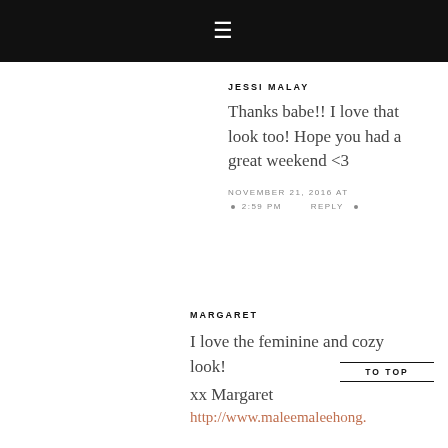≡
JESSI MALAY
Thanks babe!! I love that look too! Hope you had a great weekend <3
NOVEMBER 21, 2016 AT 2:59 PM • REPLY •
MARGARET
I love the feminine and cozy look!
xx Margaret
http://www.maleemaleehong.